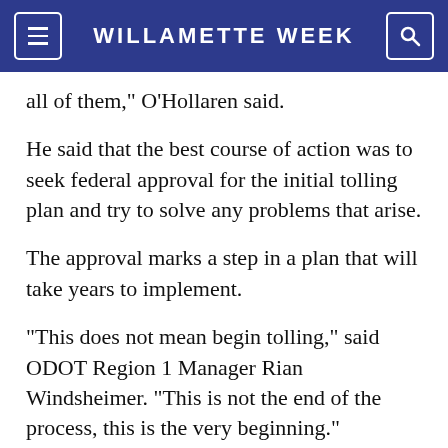WILLAMETTE WEEK
all of them," O'Hollaren said.
He said that the best course of action was to seek federal approval for the initial tolling plan and try to solve any problems that arise.
The approval marks a step in a plan that will take years to implement.
"This does not mean begin tolling," said ODOT Region 1 Manager Rian Windsheimer. "This is not the end of the process, this is the very beginning."
It also likely marks the start of a pitched political